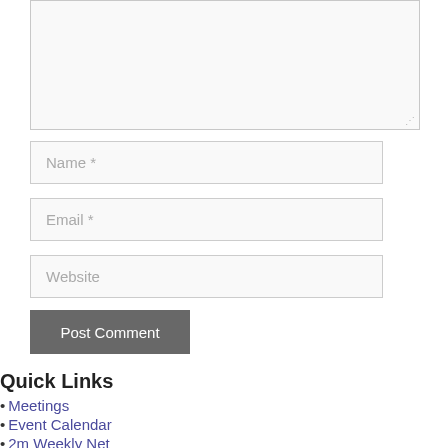[Figure (screenshot): Comment form textarea (large empty input box)]
Name *
Email *
Website
Post Comment
Quick Links
• Meetings
• Event Calendar
• 2m Weekly Net